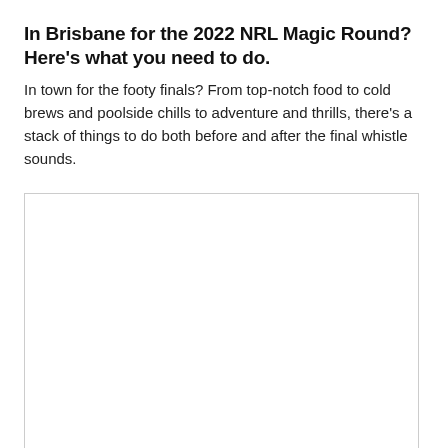In Brisbane for the 2022 NRL Magic Round? Here's what you need to do.
In town for the footy finals? From top-notch food to cold brews and poolside chills to adventure and thrills, there's a stack of things to do both before and after the final whistle sounds.
[Figure (photo): Empty image placeholder with a light border, representing a photo associated with the NRL Magic Round Brisbane article.]